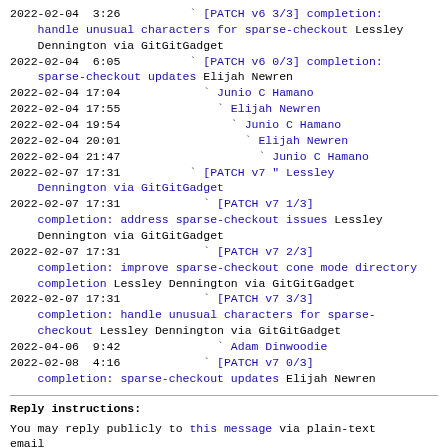2022-02-04  3:26          ` [PATCH v6 3/3] completion: handle unusual characters for sparse-checkout Lessley Dennington via GitGitGadget
2022-02-04  6:05          ` [PATCH v6 0/3] completion: sparse-checkout updates Elijah Newren
2022-02-04 17:04            ` Junio C Hamano
2022-02-04 17:55              ` Elijah Newren
2022-02-04 19:54                ` Junio C Hamano
2022-02-04 20:01                  ` Elijah Newren
2022-02-04 21:47                    ` Junio C Hamano
2022-02-07 17:31          ` [PATCH v7 " Lessley Dennington via GitGitGadget
2022-02-07 17:31            ` [PATCH v7 1/3] completion: address sparse-checkout issues Lessley Dennington via GitGitGadget
2022-02-07 17:31            ` [PATCH v7 2/3] completion: improve sparse-checkout cone mode directory completion Lessley Dennington via GitGitGadget
2022-02-07 17:31            ` [PATCH v7 3/3] completion: handle unusual characters for sparse-checkout Lessley Dennington via GitGitGadget
2022-04-06  9:42              ` Adam Dinwoodie
2022-02-08  4:16            ` [PATCH v7 0/3] completion: sparse-checkout updates Elijah Newren
Reply instructions:
You may reply publicly to this message via plain-text email